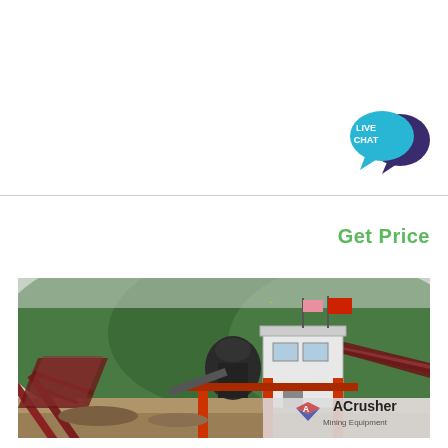[Figure (other): Live Chat button: cyan speech bubble with 'LIVE CHAT' text and dark purple speech bubble icon]
Get Price
[Figure (photo): Outdoor photograph of a mining/crushing plant with conveyor belts, a white building, red steel frame structure, flags on top, surrounded by green forested mountains in the background. ACrusher Mining Equipment logo watermark in bottom right corner.]